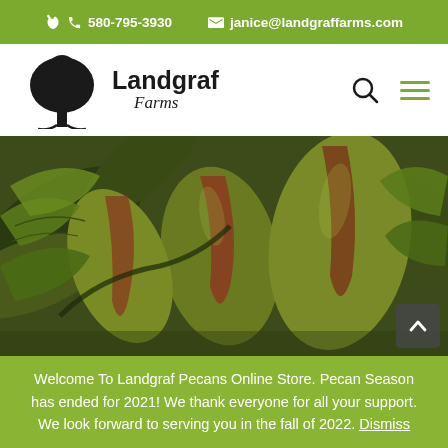580-795-3930   janice@landgraffarms.com
[Figure (logo): Landgraf Farms logo with tree illustration and stylized text]
[Figure (photo): Close-up photo of green pecans splitting open on a tree branch with leaves]
Welcome To Landgraf Pecans Online Store. Pecan Season has ended for 2021! We thank everyone for all your support. We look forward to serving you in the fall of 2022. Dismiss